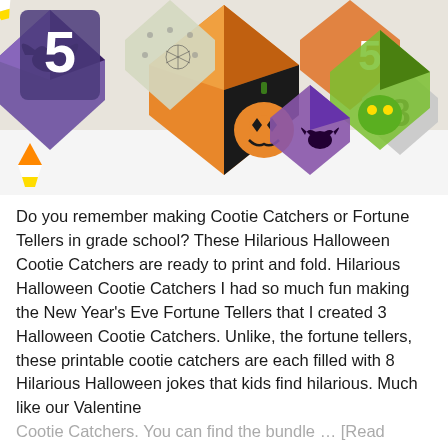[Figure (photo): Photo of colorful Halloween-themed cootie catchers (fortune tellers) made of paper, featuring pumpkins, bats, witches, and numbers, arranged on a white surface with candy corn visible.]
Do you remember making Cootie Catchers or Fortune Tellers in grade school? These Hilarious Halloween Cootie Catchers are ready to print and fold. Hilarious Halloween Cootie Catchers I had so much fun making the New Year's Eve Fortune Tellers that I created 3 Halloween Cootie Catchers. Unlike, the fortune tellers, these printable cootie catchers are each filled with 8 Hilarious Halloween jokes that kids find hilarious. Much like our Valentine Cootie Catchers. You can find the bundle … [Read more...]